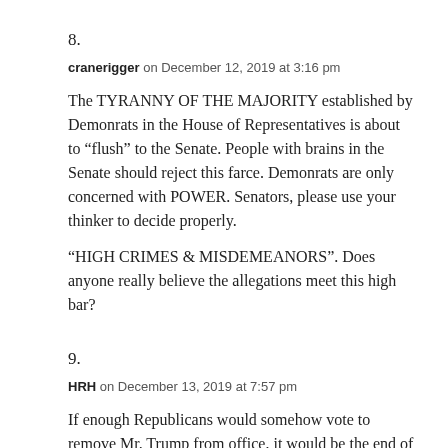8.
cranerigger on December 12, 2019 at 3:16 pm
The TYRANNY OF THE MAJORITY established by Demonrats in the House of Representatives is about to “flush” to the Senate. People with brains in the Senate should reject this farce. Demonrats are only concerned with POWER. Senators, please use your thinker to decide properly.
“HIGH CRIMES & MISDEMEANORS”. Does anyone really believe the allegations meet this high bar?
9.
HRH on December 13, 2019 at 7:57 pm
If enough Republicans would somehow vote to remove Mr. Trump from office, it would be the end of the Republican Party. Mr. Trump could then go to